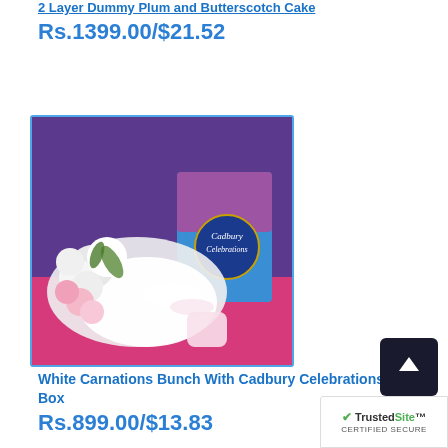2 Layer Dummy Plum and Butterscotch Cake
Rs.1399.00/$21.52
[Figure (photo): White carnations bouquet with white wrapping and ribbon, placed in front of a Cadbury Celebrations box, on a pink/red surface with purple background]
White Carnations Bunch With Cadbury Celebrations Box
Rs.899.00/$13.83